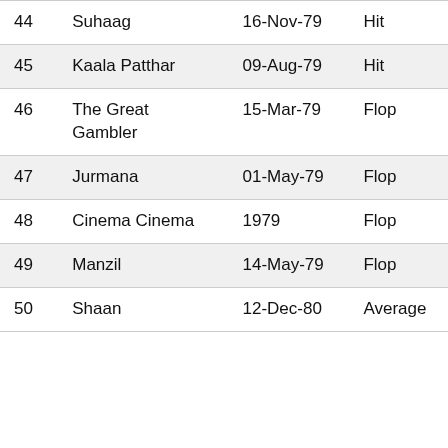| 44 | Suhaag | 16-Nov-79 | Hit |
| 45 | Kaala Patthar | 09-Aug-79 | Hit |
| 46 | The Great Gambler | 15-Mar-79 | Flop |
| 47 | Jurmana | 01-May-79 | Flop |
| 48 | Cinema Cinema | 1979 | Flop |
| 49 | Manzil | 14-May-79 | Flop |
| 50 | Shaan | 12-Dec-80 | Average |